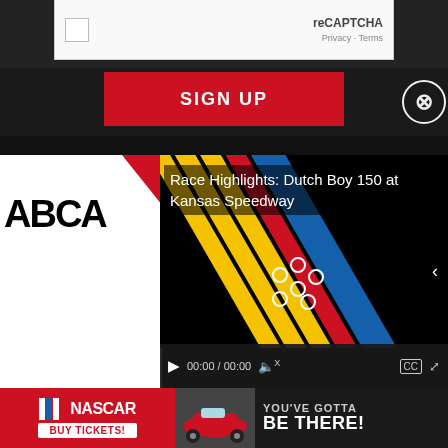[Figure (screenshot): reCAPTCHA checkbox widget with Privacy and Terms links]
SIGN UP
[Figure (screenshot): Close button (X in circle) on dark background]
[Figure (screenshot): ARCA racing video player showing 'Race Highlights: Dutch Boy 150 at Kansas Speedway' with colorful racing stripes and video controls bar showing 00:00 / 00:00]
[Figure (screenshot): NASCAR advertisement banner with NASCAR logo, BUY TICKETS button, and 'YOU'VE GOTTA BE THERE!' text on dark background]